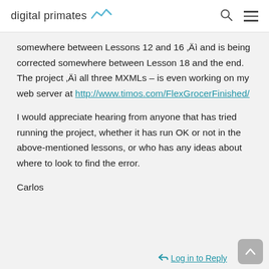digital primates
somewhere between Lessons 12 and 16 “ and is being corrected somewhere between Lesson 18 and the end. The project “ all three MXMLs – is even working on my web server at http://www.timos.com/FlexGrocerFinished/
I would appreciate hearing from anyone that has tried running the project, whether it has run OK or not in the above-mentioned lessons, or who has any ideas about where to look to find the error.
Carlos
Log in to Reply